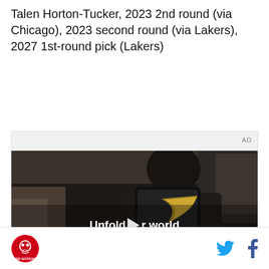Talen Horton-Tucker, 2023 2nd round (via Chicago), 2023 second round (via Lakers), 2027 1st-round pick (Lakers)
[Figure (screenshot): Advertisement video player showing a person holding a foldable phone in a car with text 'Unfold your world' and a play button overlay. AD label in top right corner.]
Site logo icon on left; Twitter and Facebook social icons on right